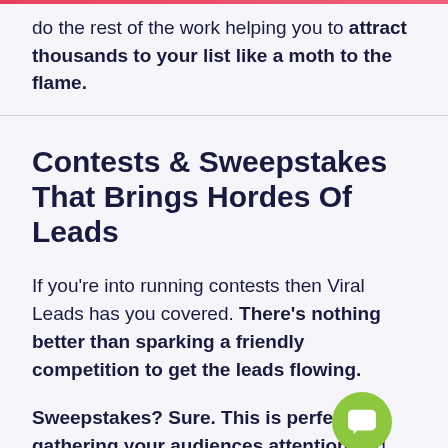do the rest of the work helping you to attract thousands to your list like a moth to the flame.
Contests & Sweepstakes That Brings Hordes Of Leads
If you're into running contests then Viral Leads has you covered. There's nothing better than sparking a friendly competition to get the leads flowing.
Sweepstakes? Sure. This is perfect for gathering your audiences attention and